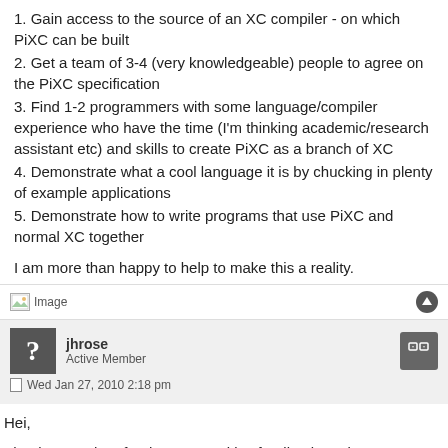1. Gain access to the source of an XC compiler - on which PiXC can be built
2. Get a team of 3-4 (very knowledgeable) people to agree on the PiXC specification
3. Find 1-2 programmers with some language/compiler experience who have the time (I'm thinking academic/research assistant etc) and skills to create PiXC as a branch of XC
4. Demonstrate what a cool language it is by chucking in plenty of example applications
5. Demonstrate how to write programs that use PiXC and normal XC together
I am more than happy to help to make this a reality.
[Figure (screenshot): Forum post separator with image placeholder icon on the left and an up-arrow circle button on the right]
jhrose
Active Member
Wed Jan 27, 2010 2:18 pm
Hei,
Thanks Jonathon for the very positive feedback again.